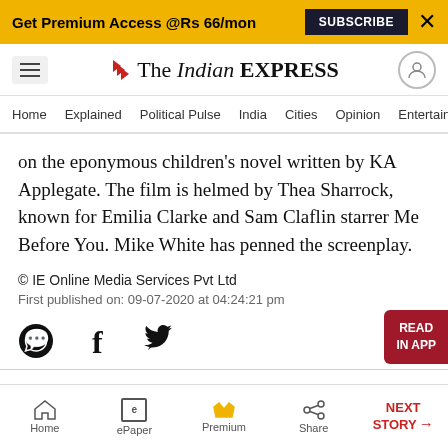Get Premium Access @Rs 66/mon  SUBSCRIBE  X
The Indian EXPRESS
Home  Explained  Political Pulse  India  Cities  Opinion  Entertainment
on the eponymous children's novel written by KA Applegate. The film is helmed by Thea Sharrock, known for Emilia Clarke and Sam Claflin starrer Me Before You. Mike White has penned the screenplay.
© IE Online Media Services Pvt Ltd
First published on: 09-07-2020 at 04:24:21 pm
[Figure (other): Social share icons: WhatsApp, Facebook, Twitter]
Home  ePaper  Premium  Share  NEXT STORY →